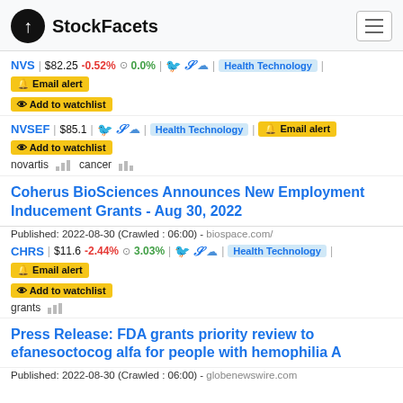StockFacets
NVS | $82.25 -0.52% 0.0% | Health Technology | Email alert | Add to watchlist
NVSEF | $85.1 | Health Technology | Email alert | Add to watchlist
novartis   cancer
Coherus BioSciences Announces New Employment Inducement Grants - Aug 30, 2022
Published: 2022-08-30 (Crawled : 06:00) - biospace.com/
CHRS | $11.6 -2.44% 3.03% | Health Technology | Email alert | Add to watchlist
grants
Press Release: FDA grants priority review to efanesoctocog alfa for people with hemophilia A
Published: 2022-08-30 (Crawled : 06:00) - globenewswire.com